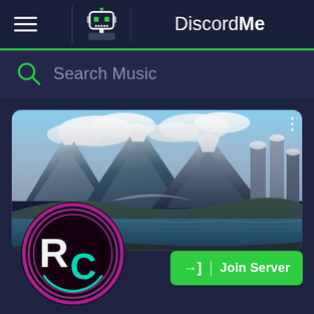DiscordMe
Search Music
[Figure (screenshot): DiscordMe server listing page showing a music server with mountain landscape banner image, RC server logo, and Join Server button]
Join Server